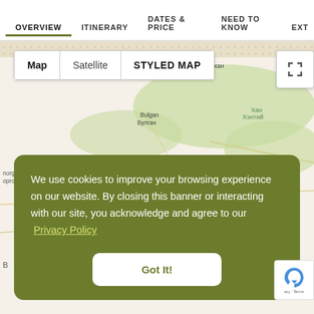OVERVIEW  ITINERARY  DATES & PRICE  NEED TO KNOW  EXT...
[Figure (map): Map of Mongolia showing Ulaanbaatar (Улаанбаатар), Bulgan/Булган, Tsetserleg/Цэцэрлэг, Kharkhorin, Дархан, Хан Хэнтий labels. Map/Satellite/Styled Map switcher visible. Cluster marker showing 5 near Ulaanbaatar. Blue sonar-style markers on map.]
We use cookies to improve your browsing experience on our website. By closing this banner or interacting with our site, you acknowledge and agree to our  Privacy Policy
Got It!